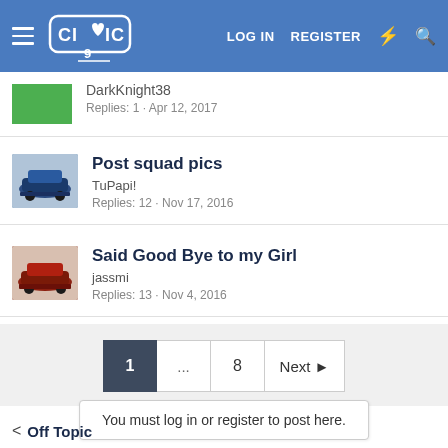Civic9 forum header with LOG IN, REGISTER, and icons
DarkKnight38 · Replies: 1 · Apr 12, 2017
Post squad pics · TuPapi! · Replies: 12 · Nov 17, 2016
Said Good Bye to my Girl · jassmi · Replies: 13 · Nov 4, 2016
Pagination: 1 ... 8 Next
You must log in or register to post here.
< Off Topic